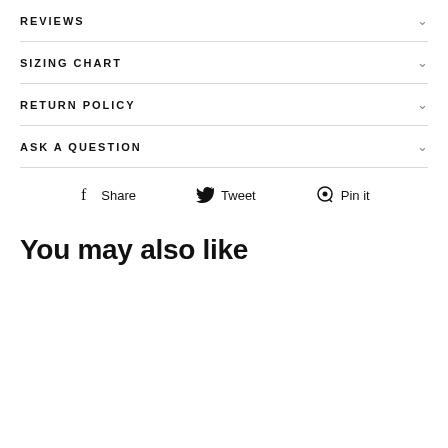REVIEWS
SIZING CHART
RETURN POLICY
ASK A QUESTION
Share   Tweet   Pin it
You may also like